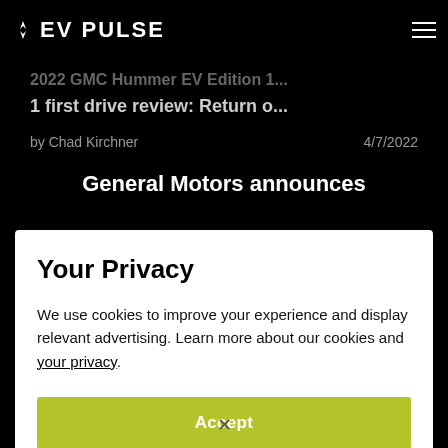EV PULSE
2022 GMC Hummer EV Edition 1 first drive review: Return o...
by Chad Kirchner   4/7/2022
General Motors announces
Your Privacy
We use cookies to improve your experience and display relevant advertising. Learn more about our cookies and your privacy.
Accept